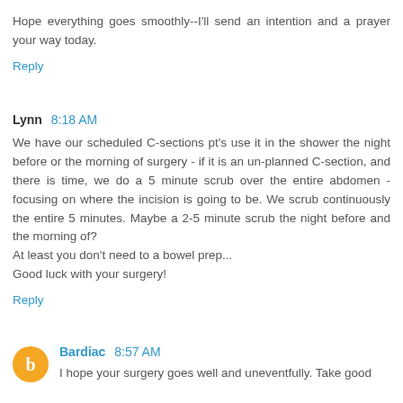Hope everything goes smoothly--I'll send an intention and a prayer your way today.
Reply
Lynn 8:18 AM
We have our scheduled C-sections pt's use it in the shower the night before or the morning of surgery - if it is an un-planned C-section, and there is time, we do a 5 minute scrub over the entire abdomen - focusing on where the incision is going to be. We scrub continuously the entire 5 minutes. Maybe a 2-5 minute scrub the night before and the morning of?
At least you don't need to a bowel prep...
Good luck with your surgery!
Reply
Bardiac 8:57 AM
I hope your surgery goes well and uneventfully. Take good